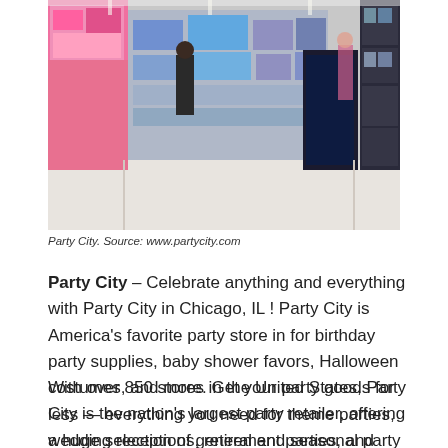[Figure (photo): Interior of a Party City store showing aisles with colorful party supplies, balloons, and decorations on shelves. Multiple customers visible shopping.]
Party City. Source: www.partycity.com
Party City – Celebrate anything and everything with Party City in Chicago, IL ! Party City is America's favorite party store in for birthday party supplies, baby shower favors, Halloween costumes, and more. Get your party goods for less — everything you need for theme parties, wedding receptions, retirement parties, and sporting events.
With over 850 stores in the United States, Party City is the nation's largest party retailer, offering a huge selection of general and seasonal party supplies. They've been in the party business for thirty years, growing from a single location